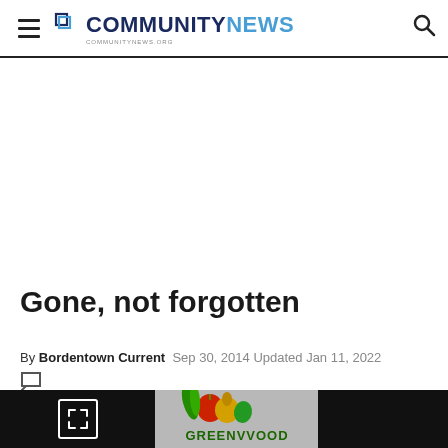COMMUNITY NEWS
Gone, not forgotten
By Bordentown Current   Sep 30, 2014 Updated Jan 11, 2022
[Figure (photo): Greenwood produce market logo with vegetables illustration and text GREENWOOD, partially visible at bottom of page]